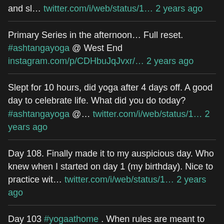and sl… twitter.com/i/web/status/1… 2 years ago
Primary Series in the afternoon… Full reset. #ashtangayoga @ West End instagram.com/p/CDHbuJqJvxr/… 2 years ago
Slept for 10 hours, did yoga after 4 days off. A good day to celebrate life. What did you do today? #ashtangayoga @… twitter.com/i/web/status/1… 2 years ago
Day 108. Finally made it to my auspicious day. Who knew when I started on day 1 (my birthday). Nice to practice wit… twitter.com/i/web/status/1… 2 years ago
Day 103 #yogaathome . When rules are meant to be broken, natural expression takes its place. #ashtangayoga twitter.com/i/web/status/1…